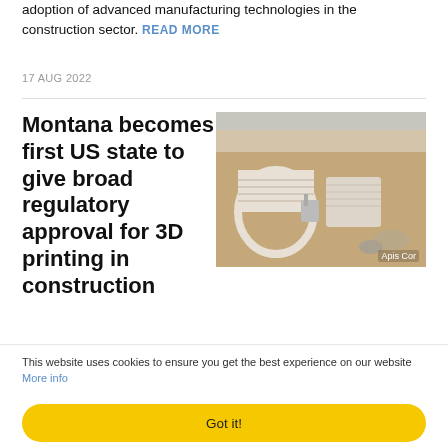adoption of advanced manufacturing technologies in the construction sector. READ MORE
17 AUG 2022
Montana becomes first US state to give broad regulatory approval for 3D printing in construction
[Figure (photo): Aerial view of a 3D printed construction site showing curved concrete walls and construction equipment. Credit: Apis Cor]
Building code regulators at state level in Montana have made history as the first in the country to approve 3D printed walls as an equal replacement for walls made with
This website uses cookies to ensure you get the best experience on our website More info
Got it!